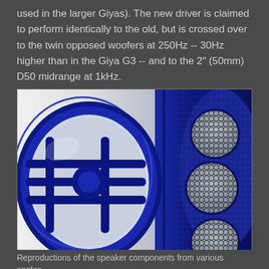used in the larger Giyas). The new driver is claimed to perform identically to the old, but is crossed over to the twin opposed woofers at 250Hz -- 30Hz higher than in the Giya G3 -- and to the 2" (50mm) D50 midrange at 1kHz.
[Figure (photo): Close-up photograph of a blue high-end speaker showing the woofer cone on the left side with a large circular grille structure, and on the right side the speaker cabinet with multiple circular drivers covered by hexagonal mesh grilles, all finished in glossy dark blue.]
Reproductions of the speaker components from various angles...